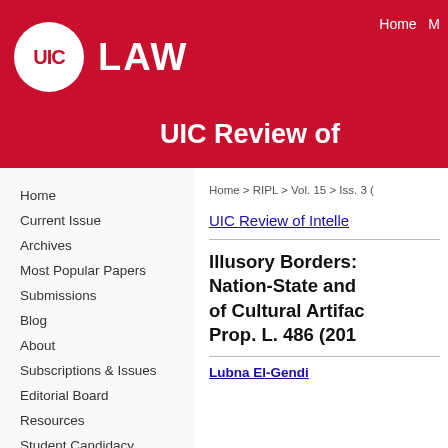UIC LAW — UIC Review of Intelle...
Home
Current Issue
Archives
Most Popular Papers
Submissions
Blog
About
Subscriptions & Issues
Editorial Board
Resources
Student Candidacy
Contact
Home > RIPL > Vol. 15 > Iss. 3 (
UIC Review of Intelle
Illusory Borders: Nation-State and of Cultural Artifac Prop. L. 486 (201
Lubna El-Gendi